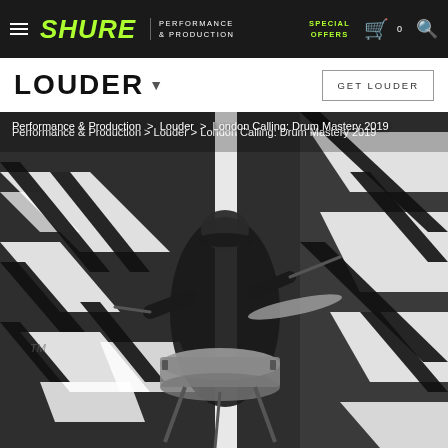SHURE | PERFORMANCE & PRODUCTION | SPECIAL OFFERS | Cart 0 | Search
LOUDER
GET LOUDER
Performance & Production > Louder > London Calling: Drum Mastery 2019
[Figure (photo): Black and white photograph of a drummer playing a snare drum outdoors against a wall with bold black and white geometric stripe patterns. The drummer wears a cap, sunglasses, and dark clothing, holding drumsticks mid-play.]